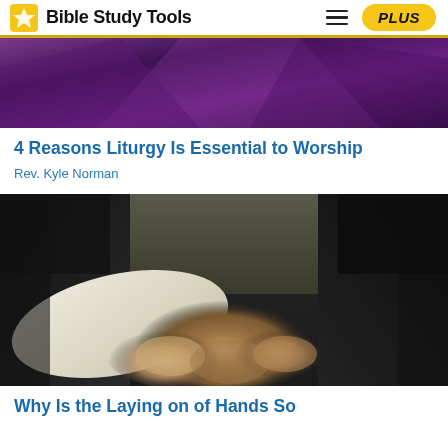Bible Study Tools
[Figure (photo): Abstract purple and dark background image, partial view of fabric or cloth in purple tones]
4 Reasons Liturgy Is Essential to Worship
Rev. Kyle Norman
[Figure (photo): Multiple people of different ethnicities stacking hands together in a gesture of unity, wearing formal attire including white shirt, dark suits, and gray jacket]
Why Is the Laying on of Hands So